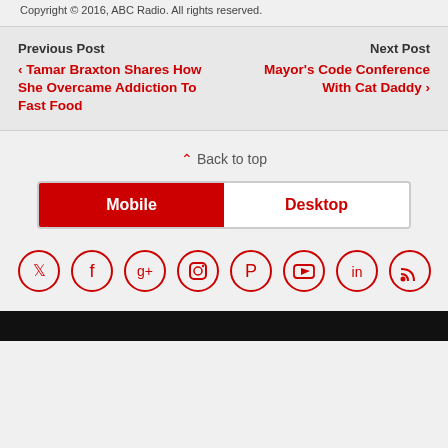Copyright © 2016, ABC Radio. All rights reserved.
Previous Post
◀ Tamar Braxton Shares How She Overcame Addiction To Fast Food
Next Post
Mayor's Code Conference With Cat Daddy ▶
⌃ Back to top
[Figure (other): Mobile/Desktop toggle button with Mobile selected (red) and Desktop (white)]
[Figure (other): Row of 8 circular social media icons: Twitter, Facebook, Google+, Instagram, Pinterest, YouTube, LinkedIn, RSS]